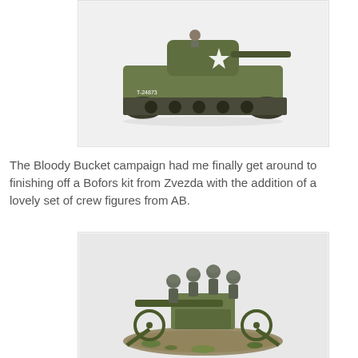[Figure (photo): Painted miniature model of a Sherman tank in olive drab with white star marking and number T-24973, shown in profile view on white background]
The Bloody Bucket campaign had me finally get around to finishing off a Bofors kit from Zvezda with the addition of a lovely set of crew figures from AB.
[Figure (photo): Painted miniature model of a Bofors anti-aircraft gun with crew figures in WWII US Army uniforms, mounted on a scenic base with grass tufts]